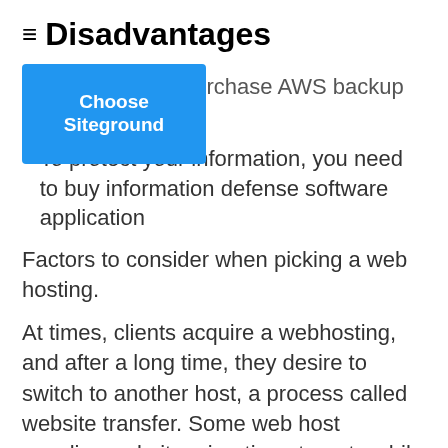≡ Disadvantages
[Figure (other): Blue 'Choose Siteground' button overlapping text about purchase AWS backup]
To protect your information, you need to buy information defense software application
Factors to consider when picking a web hosting.
At times, clients acquire a webhosting, and after a long time, they desire to switch to another host, a process called website transfer. Some web host supplies website migration at a rate while others provide the migration for complimentary. You need to choose to go with HostGator or Greengeeks if you are in search of a free